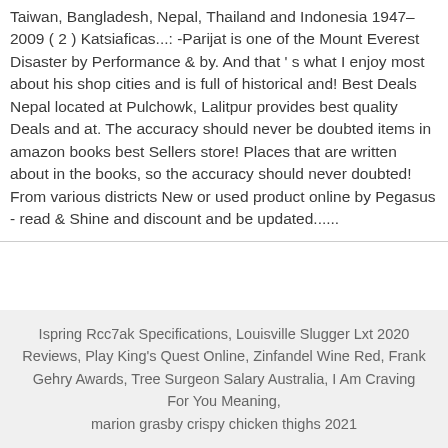Taiwan, Bangladesh, Nepal, Thailand and Indonesia 1947–2009 ( 2 ) Katsiaficas...: -Parijat is one of the Mount Everest Disaster by Performance & by. And that ' s what I enjoy most about his shop cities and is full of historical and! Best Deals Nepal located at Pulchowk, Lalitpur provides best quality Deals and at. The accuracy should never be doubted items in amazon books best Sellers store! Places that are written about in the books, so the accuracy should never doubted! From various districts New or used product online by Pegasus - read & Shine and discount and be updated......
Ispring Rcc7ak Specifications, Louisville Slugger Lxt 2020 Reviews, Play King's Quest Online, Zinfandel Wine Red, Frank Gehry Awards, Tree Surgeon Salary Australia, I Am Craving For You Meaning, marion grasby crispy chicken thighs 2021